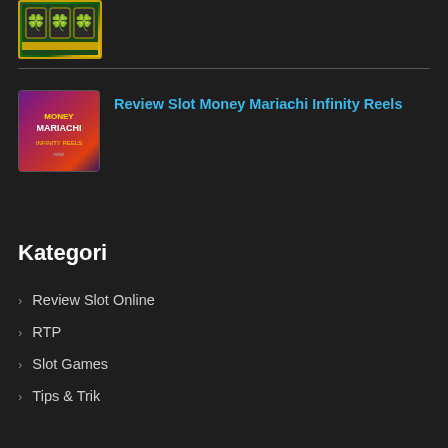[Figure (screenshot): Partial slot machine game thumbnail at top of page]
[Figure (screenshot): Money Mariachi Infinity Reels slot game thumbnail - purple/red gradient background with stylized text]
Review Slot Money Mariachi Infinity Reels
Kategori
Review Slot Online
RTP
Slot Games
Tips & Trik